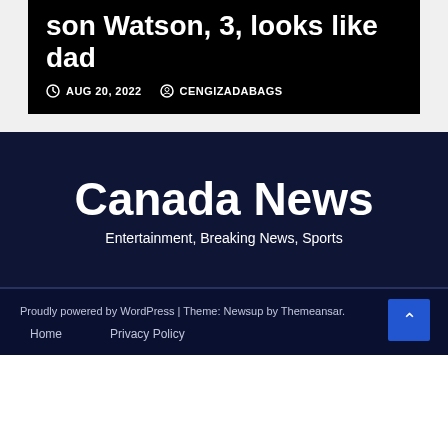son Watson, 3, looks like dad
AUG 20, 2022   CENGIZADABAGS
Canada News
Entertainment, Breaking News, Sports
Proudly powered by WordPress | Theme: Newsup by Themeansar.
Home   Privacy Policy